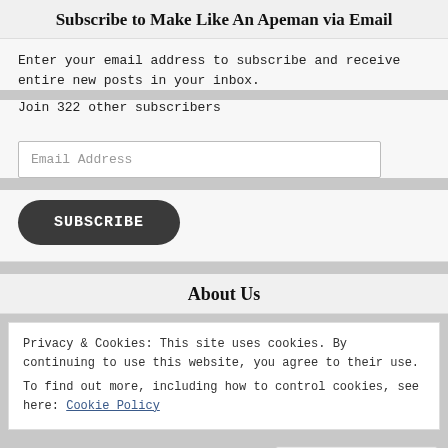Subscribe to Make Like An Apeman via Email
Enter your email address to subscribe and receive entire new posts in your inbox.
Join 322 other subscribers
Email Address
SUBSCRIBE
About Us
Privacy & Cookies: This site uses cookies. By continuing to use this website, you agree to their use.
To find out more, including how to control cookies, see here: Cookie Policy
Close and accept
across North America